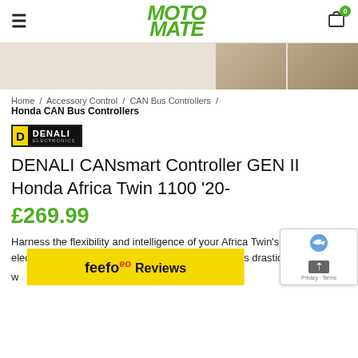MotoMate
[Figure (photo): Product image thumbnails showing wiring/cable details against sandy background]
Home / Accessory Control / CAN Bus Controllers / Honda CAN Bus Controllers
[Figure (logo): DENALI Electronics logo - yellow D block with black background text]
DENALI CANsmart Controller GEN II Honda Africa Twin 1100 '20-
£269.99
Harness the flexibility and intelligence of your Africa Twin's CAN bus electrical system to make installation of accessories drastically easier with the DENALI CANsmart™ Contr